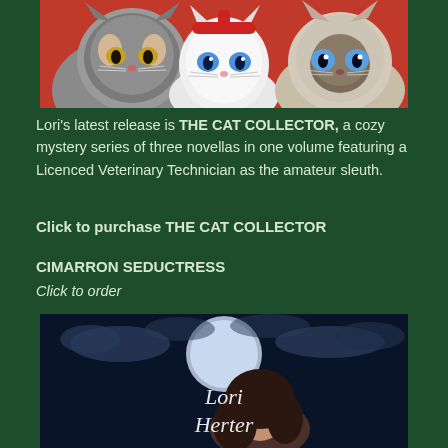[Figure (illustration): Illustrated book cover image showing three cats: a large fluffy grey tabby on the left with golden eyes, a white cat with blue eyes in the center wearing a red headband, and a Siamese/Ragdoll cat on the right with blue eyes, on a red background.]
Lori's latest release is THE CAT COLLECTOR, a cozy mystery series of three novellas in one volume featuring a Licenced Veterinary Technician as the amateur sleuth.
Click to purchase THE CAT COLLECTOR
CIMARRON SEDUCTRESS
Click to order
[Figure (illustration): Book cover for a romance/paranormal novel showing a woman with long dark hair against a moonlit night sky with clouds, and text reading 'Lori Herter' in large decorative script.]